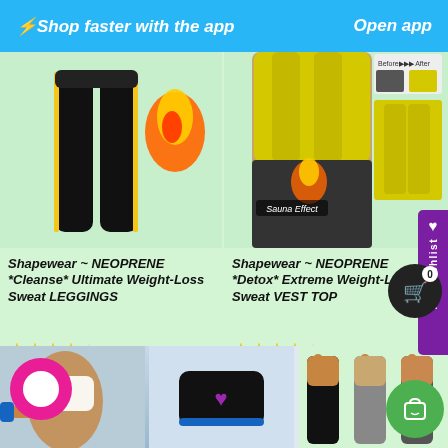⚡Shop faster with the app   Open app
[Figure (photo): Neoprene sweat leggings product photo with flame graphic]
[Figure (photo): Neoprene sweat vest top product photo with before/after and sauna effect labels]
Shapewear ~ NEOPRENE *Cleanse* Ultimate Weight-Loss Sweat LEGGINGS
Shapewear ~ NEOPRENE *Detox* Extreme Weight-Loss Sweat VEST TOP
★★★★★ (5 stars)
★★★★★ (5 stars)
$88.32  $31.99 Sale
$48.99  $20.99 Sale
[Figure (photo): Bottom row product images: sports bra/woman, waist trainer belt, women leggings trio]
My Wishlist